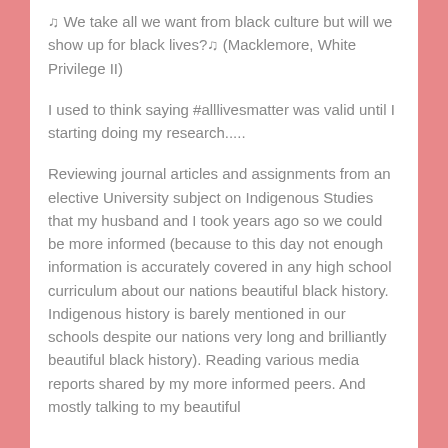♫ We take all we want from black culture but will we show up for black lives?♫ (Macklemore, White Privilege II)
I used to think saying #alllivesmatter was valid until I starting doing my research.....
Reviewing journal articles and assignments from an elective University subject on Indigenous Studies that my husband and I took years ago so we could be more informed (because to this day not enough information is accurately covered in any high school curriculum about our nations beautiful black history. Indigenous history is barely mentioned in our schools despite our nations very long and brilliantly beautiful black history). Reading various media reports shared by my more informed peers. And mostly talking to my beautiful